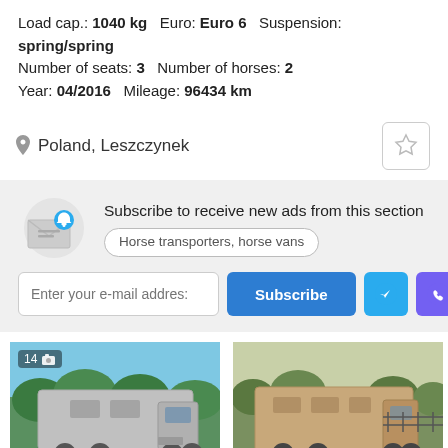Load cap.: 1040 kg   Euro: Euro 6   Suspension: spring/spring
Number of seats: 3   Number of horses: 2
Year: 04/2016   Mileage: 96434 km
Poland, Leszczynek
Subscribe to receive new ads from this section
Horse transporters, horse vans
[Figure (screenshot): Subscribe widget with envelope icon and email subscription controls including email input, Subscribe button, Telegram button, and Viber button]
[Figure (photo): Horse transporter truck (silver Mercedes) parked outdoors with trees in background, badge showing 14 photos]
[Figure (photo): Horse transporter truck (beige/gold colored) parked outdoors]